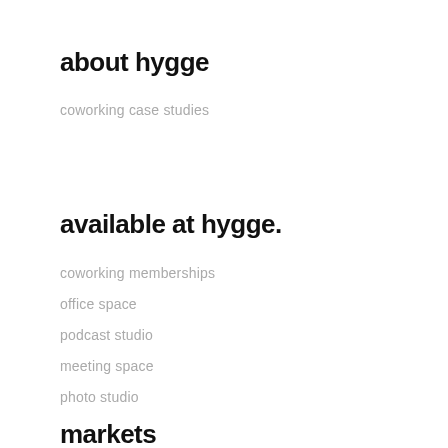about hygge
coworking case studies
available at hygge.
coworking memberships
office space
podcast studio
meeting space
photo studio
markets